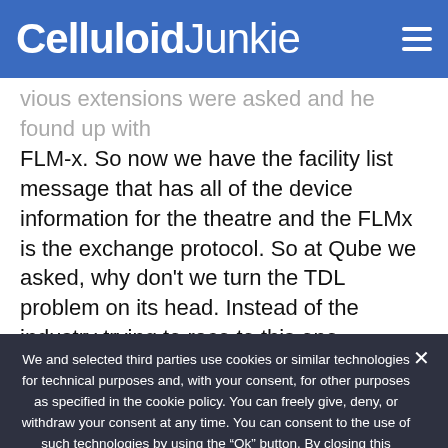Celluloid Junkie
...vious extensions were added and he found up with FLM-x. So now we have the facility list message that has all of the device information for the theatre and the FLMx is the exchange protocol. So at Qube we asked, why don't we turn the TDL problem on its head. Instead of the industry trying to race to this one universal TDL, why don't we say there can be many TDLs but as soon as there is a standardized method to communicate them...
We and selected third parties use cookies or similar technologies for technical purposes and, with your consent, for other purposes as specified in the cookie policy. You can freely give, deny, or withdraw your consent at any time. You can consent to the use of such technologies by using the “Ok” button. By closing this notice, you continue without accepting.